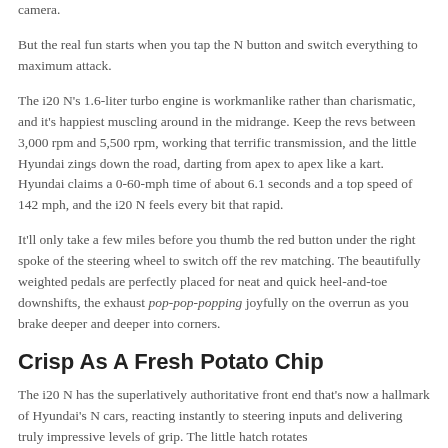camera.
But the real fun starts when you tap the N button and switch everything to maximum attack.
The i20 N's 1.6-liter turbo engine is workmanlike rather than charismatic, and it's happiest muscling around in the midrange. Keep the revs between 3,000 rpm and 5,500 rpm, working that terrific transmission, and the little Hyundai zings down the road, darting from apex to apex like a kart. Hyundai claims a 0-60-mph time of about 6.1 seconds and a top speed of 142 mph, and the i20 N feels every bit that rapid.
It'll only take a few miles before you thumb the red button under the right spoke of the steering wheel to switch off the rev matching. The beautifully weighted pedals are perfectly placed for neat and quick heel-and-toe downshifts, the exhaust pop-pop-popping joyfully on the overrun as you brake deeper and deeper into corners.
Crisp As A Fresh Potato Chip
The i20 N has the superlatively authoritative front end that's now a hallmark of Hyundai's N cars, reacting instantly to steering inputs and delivering truly impressive levels of grip. The little hatch rotates